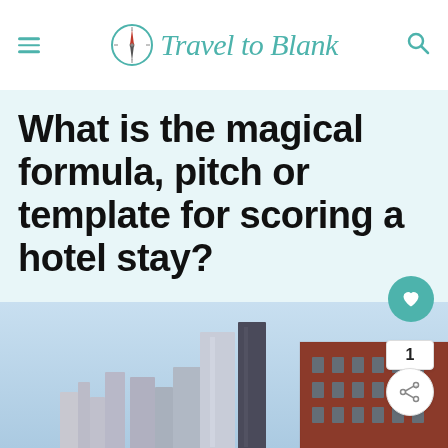Travel to Blank
What is the magical formula, pitch or template for scoring a hotel stay?
[Figure (photo): Urban cityscape with tall buildings including a brick building on the right and modern towers under a light blue sky]